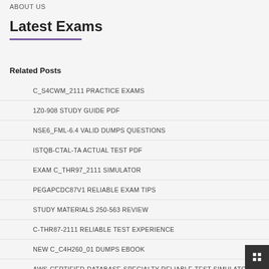ABOUT US
Latest Exams
Related Posts
C_S4CWM_2111 PRACTICE EXAMS
1Z0-908 STUDY GUIDE PDF
NSE6_FML-6.4 VALID DUMPS QUESTIONS
ISTQB-CTAL-TA ACTUAL TEST PDF
EXAM C_THR97_2111 SIMULATOR
PEGAPCDC87V1 RELIABLE EXAM TIPS
STUDY MATERIALS 250-563 REVIEW
C-THR87-2111 RELIABLE TEST EXPERIENCE
NEW C_C4H260_01 DUMPS EBOOK
AWS-CERTIFIED-DATABASE-SPECIALTY RELIABLE TEST SIMULATOR